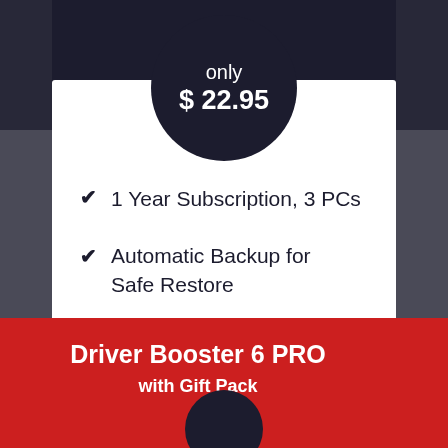only $ 22.95
1 Year Subscription, 3 PCs
Automatic Backup for Safe Restore
Buy Now
Driver Booster 6 PRO with Gift Pack